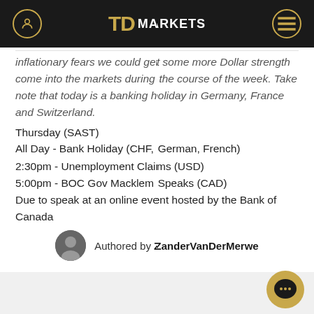TD MARKETS
inflationary fears we could get some more Dollar strength come into the markets during the course of the week. Take note that today is a banking holiday in Germany, France and Switzerland.
Thursday (SAST)
All Day - Bank Holiday (CHF, German, French)
2:30pm - Unemployment Claims (USD)
5:00pm - BOC Gov Macklem Speaks (CAD)
Due to speak at an online event hosted by the Bank of Canada
7:01pm - 30-y Bond Auction (USD)
Authored by ZanderVanDerMerwe